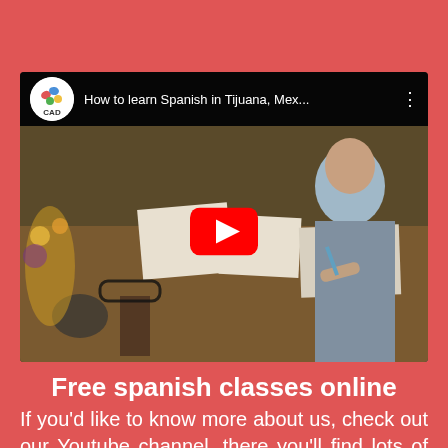[Figure (screenshot): YouTube video thumbnail showing people studying at a table. Title bar reads 'How to learn Spanish in Tijuana, Mex...' with a CAD channel logo and three-dot menu. A large red YouTube play button is centered on the image.]
Free spanish classes online
If you'd like to know more about us, check out our Youtube channel, there you'll find lots of content to...